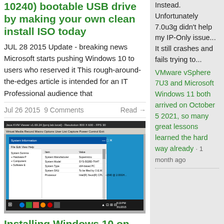10240) bootable USB drive by making your own clean install ISO today
JUL 28 2015 Update - breaking news Microsoft starts pushing Windows 10 to users who reserved it This rough-around-the-edges article is intended for an IT Professional audience that
Jul 26 2015  9 Comments   Read →
[Figure (screenshot): Java KVM Viewer screenshot showing Windows 10 Pro Insider Preview System Information on a Supermicro server]
Installing Windows 10 on the Supermicro SuperServer 5028D-TN4T
Normally, you'd put a server OS on such a little beast. But you don't have to. In this video, I'll demonstrate what's needed right after you finish up a default install of Windows 10 Insider
Instead. Unfortunately 7.0u3g didn't help my IP-Only issue... It still crashes and fails trying to...
VMware vSphere 7U3 and Microsoft Windows 11 both arrived on October 5 2021, so many great lessons learned the hard way already · 1 month ago